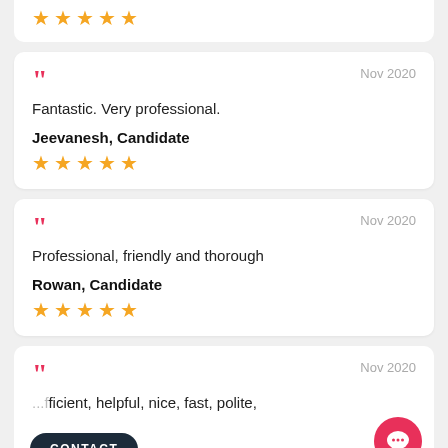★★★★★ (partial card top — 5 stars)
Fantastic. Very professional.
Jeevanesh, Candidate
★★★★★
Professional, friendly and thorough
Rowan, Candidate
★★★★★
...efficient, helpful, nice, fast, polite,